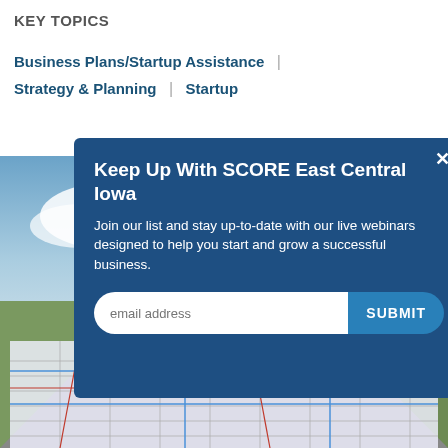KEY TOPICS
Business Plans/Startup Assistance | Strategy & Planning | Startup
[Figure (photo): Road with a map overlay on the ground, blue sky with clouds in the background]
Keep Up With SCORE East Central Iowa
Join our list and stay up-to-date with our live webinars designed to help you start and grow a successful business.
email address  SUBMIT